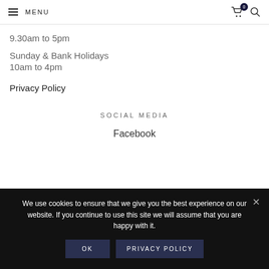MENU
9.30am to 5pm
Sunday & Bank Holidays
10am to 4pm
Privacy Policy
SOCIAL MEDIA
Facebook
We use cookies to ensure that we give you the best experience on our website. If you continue to use this site we will assume that you are happy with it.